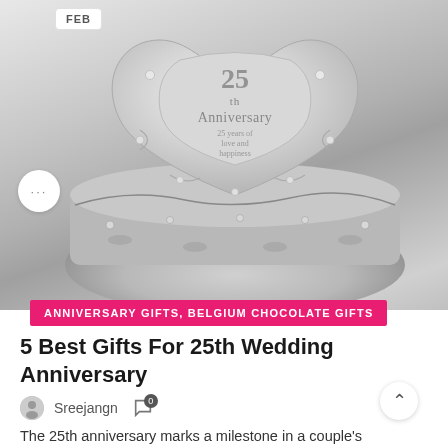[Figure (photo): Silver heart-shaped jewelry box engraved with '25th Anniversary, 25 years of love and happiness', decorated with crystal accents and floral scroll details]
FEB
...
ANNIVERSARY GIFTS, BELGIUM CHOCOLATE GIFTS
5 Best Gifts For 25th Wedding Anniversary
Sreejangn
0
The 25th anniversary marks a milestone in a couple's